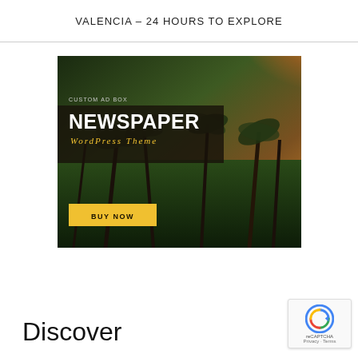VALENCIA – 24 HOURS TO EXPLORE
[Figure (other): Custom ad box for Newspaper WordPress Theme with tropical jungle/palm tree background at sunset. Contains text: CUSTOM AD BOX, NEWSPAPER WordPress Theme, and a BUY NOW button.]
Discover
[Figure (other): Google reCAPTCHA badge widget showing Privacy - Terms links]